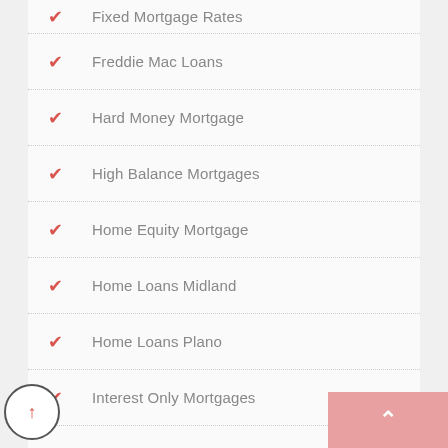Fixed Mortgage Rates
Freddie Mac Loans
Hard Money Mortgage
High Balance Mortgages
Home Equity Mortgage
Home Loans Midland
Home Loans Plano
Interest Only Mortgages
Investment Property Loans
Mortgage Lending